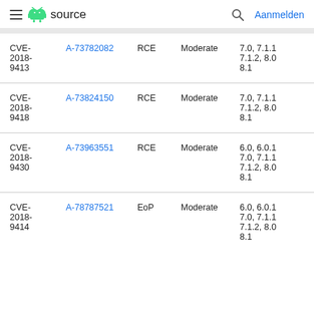≡ android source  🔍 Aanmelden
| CVE | References | Type | Severity | Updated AOSP versions |
| --- | --- | --- | --- | --- |
| CVE-2018-9413 | A-73782082 | RCE | Moderate | 7.0, 7.1.1, 7.1.2, 8.0, 8.1 |
| CVE-2018-9418 | A-73824150 | RCE | Moderate | 7.0, 7.1.1, 7.1.2, 8.0, 8.1 |
| CVE-2018-9430 | A-73963551 | RCE | Moderate | 6.0, 6.0.1, 7.0, 7.1.1, 7.1.2, 8.0, 8.1 |
| CVE-2018-9414 | A-78787521 | EoP | Moderate | 6.0, 6.0.1, 7.0, 7.1.1, 7.1.2, 8.0, 8.1 |